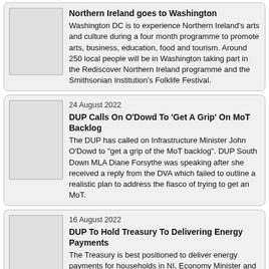Northern Ireland goes to Washington
Washington DC is to experience Northern Ireland's arts and culture during a four month programme to promote arts, business, education, food and tourism. Around 250 local people will be in Washington taking part in the Rediscover Northern Ireland programme and the Smithsonian Institution's Folklife Festival.
24 August 2022
DUP Calls On O'Dowd To 'Get A Grip' On MoT Backlog
The DUP has called on Infrastructure Minister John O'Dowd to "get a grip of the MoT backlog". DUP South Down MLA Diane Forsythe was speaking after she received a reply from the DVA which failed to outline a realistic plan to address the fiasco of trying to get an MoT.
16 August 2022
DUP To Hold Treasury To Delivering Energy Payments
The Treasury is best positioned to deliver energy payments for households in NI, Economy Minister and DUP East Antrim MLA, Gordon